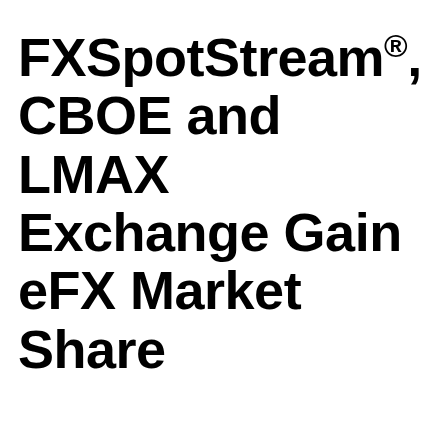FXSpotStream®, CBOE and LMAX Exchange Gain eFX Market Share
[Figure (line-chart): Line chart showing eFX trading trends with monthly volumes in $bln for multiple venues including Cboe (Hotspot), FXSpotStream, FastMatch, LMAX Exchange, NEX (CME/EBS), and Thomson Reuters**]